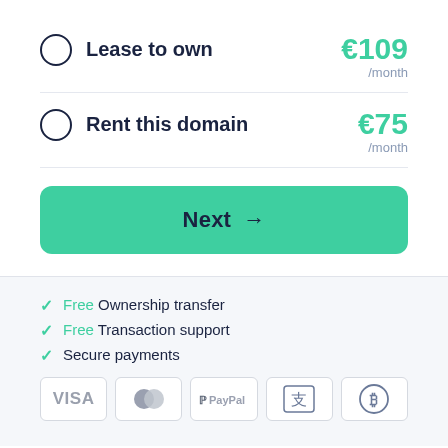Lease to own  €109 /month
Rent this domain  €75 /month
Next →
Free Ownership transfer
Free Transaction support
Secure payments
[Figure (other): Payment method icons: VISA, Mastercard, PayPal, Alipay, Bitcoin]